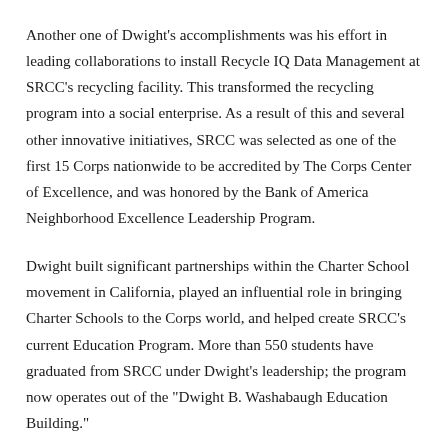Another one of Dwight's accomplishments was his effort in leading collaborations to install Recycle IQ Data Management at SRCC's recycling facility. This transformed the recycling program into a social enterprise. As a result of this and several other innovative initiatives, SRCC was selected as one of the first 15 Corps nationwide to be accredited by The Corps Center of Excellence, and was honored by the Bank of America Neighborhood Excellence Leadership Program.
Dwight built significant partnerships within the Charter School movement in California, played an influential role in bringing Charter Schools to the Corps world, and helped create SRCC's current Education Program. More than 550 students have graduated from SRCC under Dwight's leadership; the program now operates out of the "Dwight B. Washabaugh Education Building."